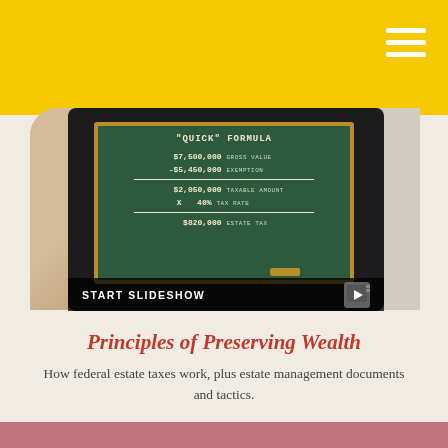[Figure (screenshot): Tablet displaying a chalkboard with 'Quick Formula' for estate tax calculation: $7,500,000 Gross Value, -$5,450,000 Exemption, $2,050,000 Taxable Amount, x 40% Tax Rate, $820,000 Estate Tax. Below image is a 'START SLIDESHOW' bar.]
Principles of Preserving Wealth
How federal estate taxes work, plus estate management documents and tactics.